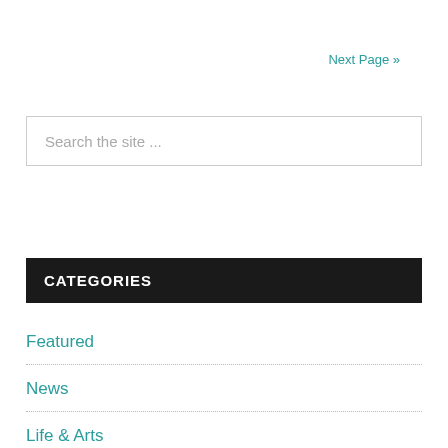Next Page »
Search the site ...
CATEGORIES
Featured
News
Life & Arts
Perspectives